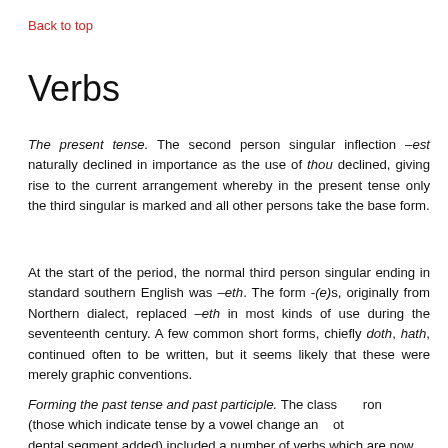Back to top
Verbs
The present tense. The second person singular inflection –est naturally declined in importance as the use of thou declined, giving rise to the current arrangement whereby in the present tense only the third singular is marked and all other persons take the base form.
At the start of the period, the normal third person singular ending in standard southern English was –eth. The form -(e)s, originally from Northern dialect, replaced –eth in most kinds of use during the seventeenth century. A few common short forms, chiefly doth, hath, continued often to be written, but it seems likely that these were merely graphic conventions.
Forming the past tense and past participle. The class of strong verbs (those which indicate tense by a vowel change and not by a dental segment added) included a number of verbs which are now irregular.